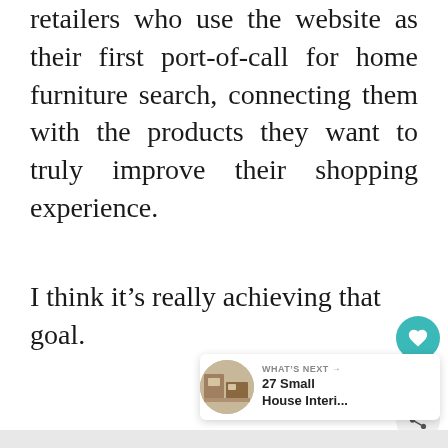retailers who use the website as their first port-of-call for home furniture search, connecting them with the products they want to truly improve their shopping experience.
I think it’s really achieving that goal.
[Figure (screenshot): UI overlay with heart/like button (teal circle with heart icon), count of 7, and share button (gray circle with share icon)]
[Figure (screenshot): What's Next widget showing thumbnail image and text '27 Small House Interi...' with arrow label 'WHAT'S NEXT →']